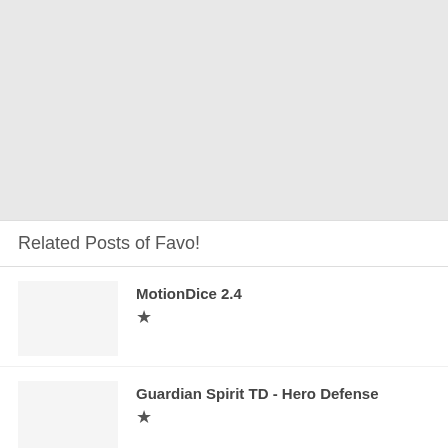[Figure (other): Gray banner/advertisement placeholder area at top of page]
Related Posts of Favo!
MotionDice 2.4 ★
Guardian Spirit TD - Hero Defense ★